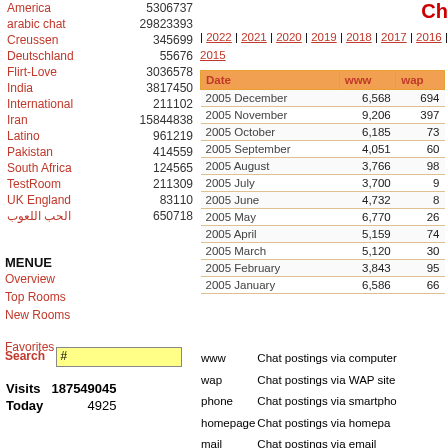America   5306737
arabic chat   29823393
Creussen   345699
Deutschland   55676
Flirt-Love   3036578
India   3817450
International   211102
Iran   15844838
Latino   961219
Pakistan   414559
South Africa   124565
TestRoom   211309
UK England   83110
الحب اللعوب   650718
MENUE
Overview
Top Rooms
New Rooms
Favorites
Search   #
Visits   187549045
Today   4925
| 2022 | 2021 | 2020 | 2019 | 2018 | 2017 | 2016 | 2015 | ... | 2004 |
| Date | www | wap |
| --- | --- | --- |
| 2005 December | 6,568 | 694 |
| 2005 November | 9,206 | 397 |
| 2005 October | 6,185 | 73 |
| 2005 September | 4,051 | 60 |
| 2005 August | 3,766 | 98 |
| 2005 July | 3,700 | 9 |
| 2005 June | 4,732 | 8 |
| 2005 May | 6,770 | 26 |
| 2005 April | 5,159 | 74 |
| 2005 March | 5,120 | 30 |
| 2005 February | 3,843 | 95 |
| 2005 January | 6,586 | 66 |
www   Chat postings via computer
wap   Chat postings via WAP site
phone   Chat postings via smartphone
homepage   Chat postings via homepage
mail   Chat postings via email